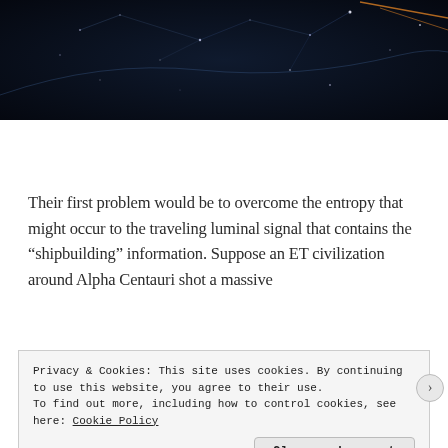[Figure (photo): Dark space/night sky image with constellation lines and stars on a dark blue-black background, with orange lines visible in the upper right corner.]
Their first problem would be to overcome the entropy that might occur to the traveling luminal signal that contains the “shipbuilding” information. Suppose an ET civilization around Alpha Centauri shot a massive
Privacy & Cookies: This site uses cookies. By continuing to use this website, you agree to their use.
To find out more, including how to control cookies, see here: Cookie Policy
Close and accept